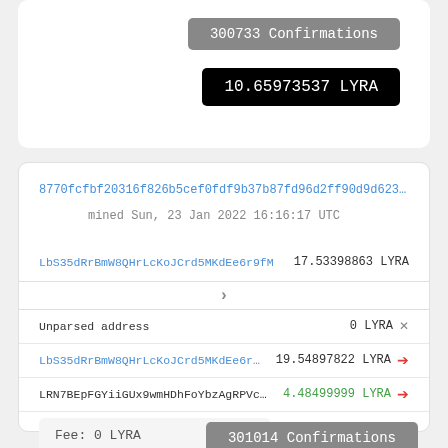300733 Confirmations
10.65973537 LYRA
8770fcfbf20316f826b5cef0fdf9b37b87fd96d2ff90d9d6238b57…
mined Sun, 23 Jan 2022 16:16:17 UTC
LbS35dRrBmW8QHrLcKoJCrd5MKdEe6r9fM    17.53398863 LYRA
>
Unparsed address    0 LYRA ×
LbS35dRrBmW8QHrLcKoJCrd5MKdEe6r9fM    19.54897822 LYRA →
LRN7BEpFGYiiGUx9wmHDhFoYbzAgRPVcC2    4.48499999 LYRA →
Fee: 0 LYRA
301014 Confirmations